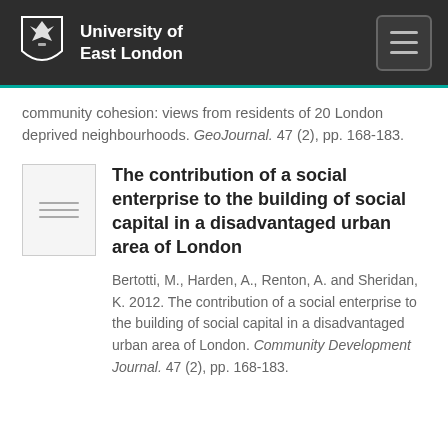University of East London
community cohesion: views from residents of 20 London deprived neighbourhoods. GeoJournal. 47 (2), pp. 168-183.
The contribution of a social enterprise to the building of social capital in a disadvantaged urban area of London
Bertotti, M., Harden, A., Renton, A. and Sheridan, K. 2012. The contribution of a social enterprise to the building of social capital in a disadvantaged urban area of London. Community Development Journal. 47 (2), pp. 168-183.